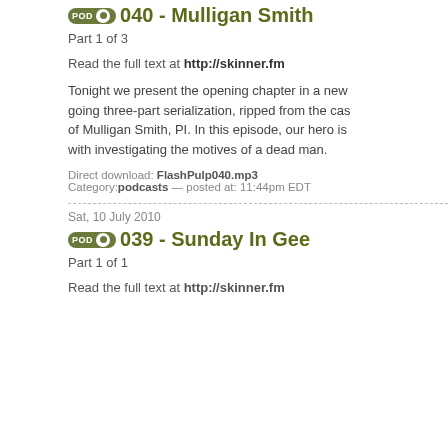040 - Mulligan Smith
Part 1 of 3
Read the full text at http://skinner.fm
Tonight we present the opening chapter in a new going three-part serialization, ripped from the cas of Mulligan Smith, PI. In this episode, our hero is with investigating the motives of a dead man.
Direct download: FlashPulp040.mp3 Category:podcasts — posted at: 11:44pm EDT
Sat, 10 July 2010
039 - Sunday In Gee
Part 1 of 1
Read the full text at http://skinner.fm